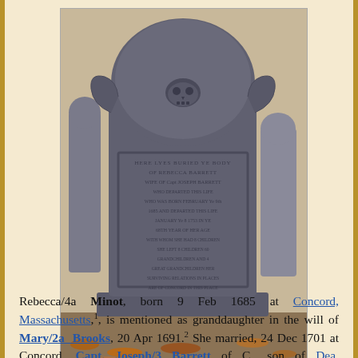[Figure (photo): Gravestone photo of Rebecca Barrett (née Minot), an ornate 18th century headstone with skull carving at top, in a cemetery with fallen autumn leaves. Text on stone mentions Rebecca Barrett, wife of Capt. Joseph Barrett.]
Findagrave.com, memorial #24293604. Photo by Star Rhodes.
Rebecca/4a Minot, born 9 Feb 1685 at Concord, Massachusetts,1, is mentioned as granddaughter in the will of Mary/2a Brooks, 20 Apr 1691.2 She married, 24 Dec 1701 at Concord, Capt. Joseph/3 Barrett of C., son of Dea. Humphrey/2 Barrett and Mary/2 Potter, with whom she had 8 children.3